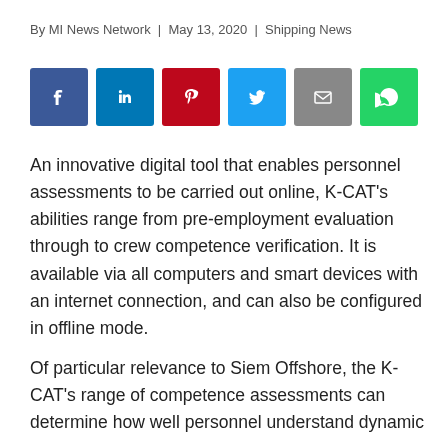By MI News Network  |  May 13, 2020  |  Shipping News
[Figure (infographic): Row of six social media share buttons: Facebook (blue), LinkedIn (blue), Pinterest (red), Twitter (light blue), Email (grey), WhatsApp (green)]
An innovative digital tool that enables personnel assessments to be carried out online, K-CAT's abilities range from pre-employment evaluation through to crew competence verification. It is available via all computers and smart devices with an internet connection, and can also be configured in offline mode.
Of particular relevance to Siem Offshore, the K-CAT's range of competence assessments can determine how well personnel understand dynamic